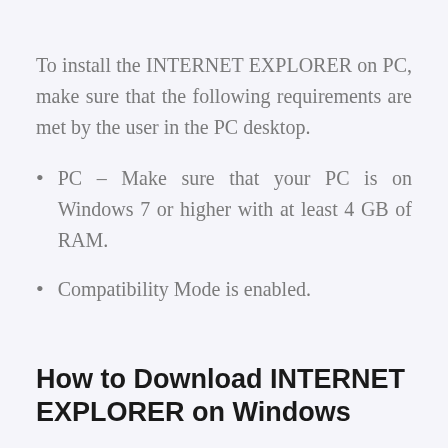To install the INTERNET EXPLORER on PC, make sure that the following requirements are met by the user in the PC desktop.
PC – Make sure that your PC is on Windows 7 or higher with at least 4 GB of RAM.
Compatibility Mode is enabled.
How to Download INTERNET EXPLORER on Windows